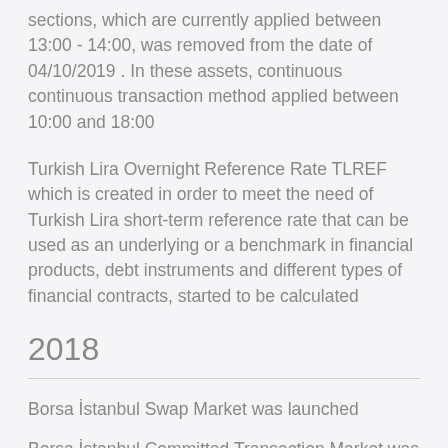sections, which are currently applied between 13:00 - 14:00, was removed from the date of 04/10/2019 . In these assets, continuous continuous transaction method applied between 10:00 and 18:00
Turkish Lira Overnight Reference Rate TLREF which is created in order to meet the need of Turkish Lira short-term reference rate that can be used as an underlying or a benchmark in financial products, debt instruments and different types of financial contracts, started to be calculated
2018
Borsa İstanbul Swap Market was launched
Borsa İstanbul Committed Transaction Market was launched